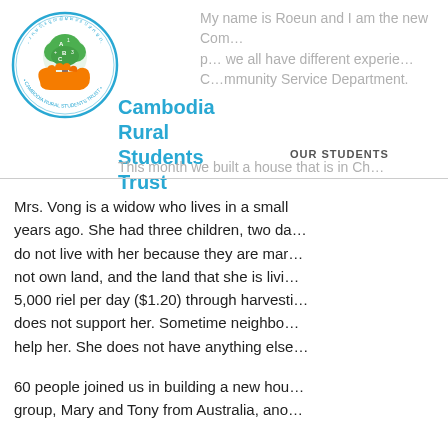[Figure (logo): Cambodia Rural Students Trust circular logo with green tree and orange hands]
Cambodia Rural Students Trust
My name is Roeun and I am the new Com... p... we all have different experie... C... mmunity Service Department.
OUR STUDENTS
This month we built a house that is in Ch...
Mrs. Vong is a widow who lives in a small years ago. She had three children, two da... do not live with her because they are mar... not own land, and the land that she is livi... 5,000 riel per day ($1.20) through harvesti... does not support her. Sometime neighbo... help her. She does not have anything else...
60 people joined us in building a new hou... group, Mary and Tony from Australia, ano...